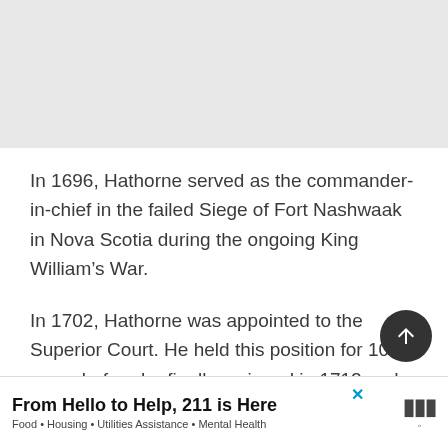[Figure (other): Gray placeholder area at top of page, likely an image or advertisement space]
In 1696, Hathorne served as the commander-in-chief in the failed Siege of Fort Nashwaak in Nova Scotia during the ongoing King William's War.
In 1702, Hathorne was appointed to the Superior Court. He held this position for 10 years before he finally resigned in 1712 and
[Figure (other): Advertisement banner: From Hello to Help, 211 is Here — Food · Housing · Utilities Assistance · Mental Health]